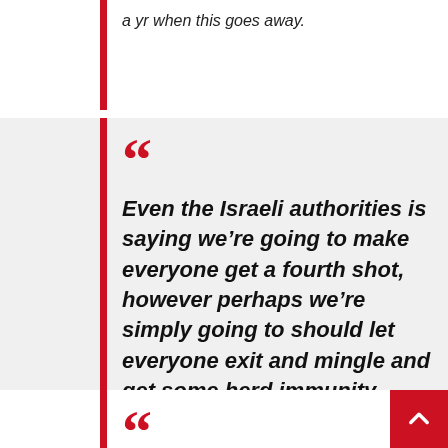a yr when this goes away.
Even the Israeli authorities is saying we’re going to make everyone get a fourth shot, however perhaps we’re simply going to should let everyone exit and mingle and get some herd immunity. There may be an awakening of the federal government that they should change course …